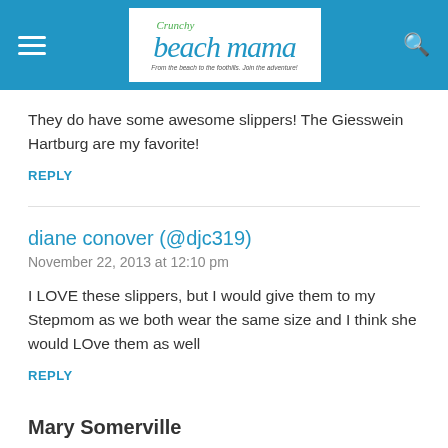Crunchy Beach Mama — From the beach to the foothills. Join the adventure!
They do have some awesome slippers! The Giesswein Hartburg are my favorite!
REPLY
diane conover (@djc319)
November 22, 2013 at 12:10 pm
I LOVE these slippers, but I would give them to my Stepmom as we both wear the same size and I think she would LOve them as well
REPLY
Mary Somerville